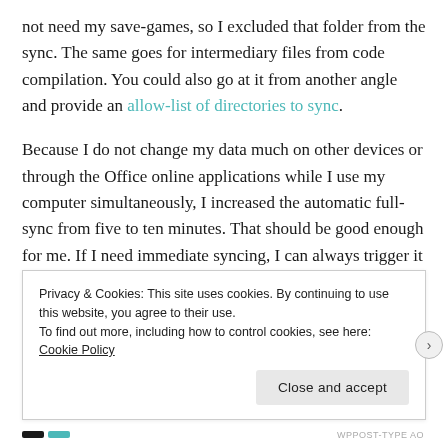not need my save-games, so I excluded that folder from the sync. The same goes for intermediary files from code compilation. You could also go at it from another angle and provide an allow-list of directories to sync.
Because I do not change my data much on other devices or through the Office online applications while I use my computer simultaneously, I increased the automatic full-sync from five to ten minutes. That should be good enough for me. If I need immediate syncing, I can always trigger it from the command line.
Privacy & Cookies: This site uses cookies. By continuing to use this website, you agree to their use. To find out more, including how to control cookies, see here: Cookie Policy
Close and accept